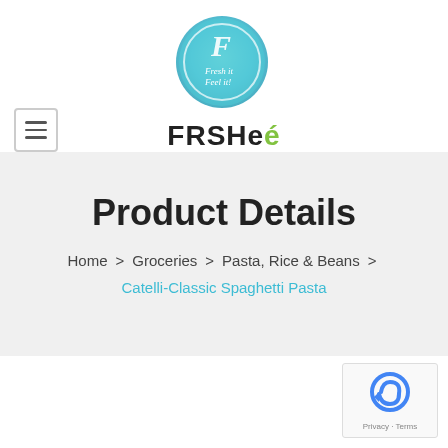[Figure (logo): FRSHee brand logo: circular teal watercolor background with cursive F and text 'Fresh it Feel it', with 'FRSHee' wordmark below including a green leaf accent]
Product Details
Home > Groceries > Pasta, Rice & Beans > Catelli-Classic Spaghetti Pasta